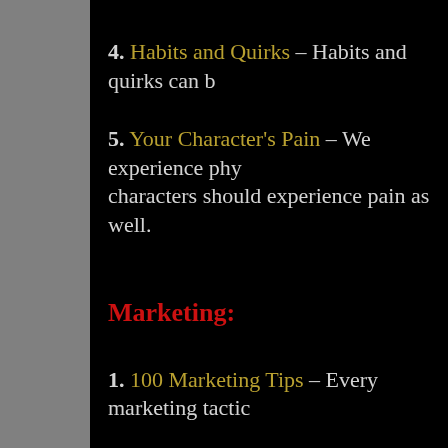4. Habits and Quirks – Habits and quirks can b…
5. Your Character's Pain – We experience phy… characters should experience pain as well.
Marketing:
1. 100 Marketing Tips – Every marketing tactic…
2. How to Create a Website – All writers should… websites should have.
3. How to Design a Business Card – I offer…